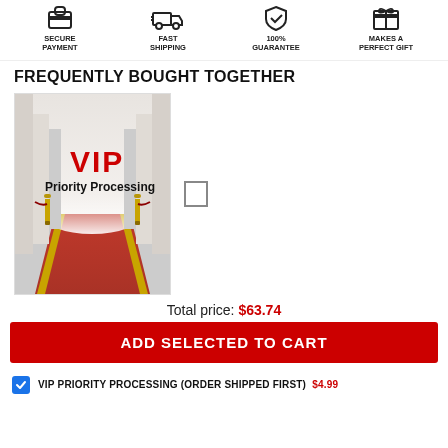[Figure (infographic): Four trust badge icons: Secure Payment, Fast Shipping, 100% Guarantee, Makes a Perfect Gift]
FREQUENTLY BOUGHT TOGETHER
[Figure (photo): VIP Priority Processing product image showing a red carpet hallway with rope barriers, text 'VIP' in red and 'Priority Processing' in black]
Total price: $63.74
ADD SELECTED TO CART
VIP PRIORITY PROCESSING (ORDER SHIPPED FIRST) $4.99